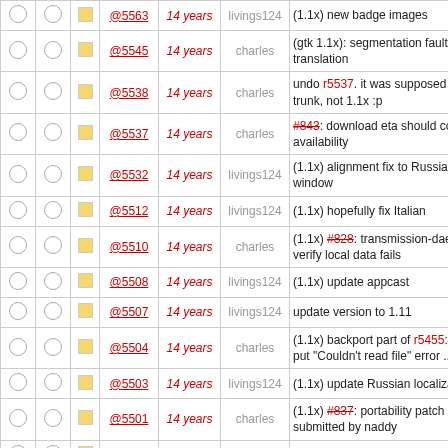|  |  |  | Rev | Age | Author | Log Message |
| --- | --- | --- | --- | --- | --- | --- |
| ○ | ○ | □ | @5563 | 14 years | livings124 | (1.1x) new badge images |
| ○ | ○ | □ | @5545 | 14 years | charles | (gtk 1.1x): segmentation fault in Italian translation |
| ○ | ○ | □ | @5538 | 14 years | charles | undo r5537. it was supposed to go in trunk, not 1.1x :p |
| ○ | ○ | □ | @5537 | 14 years | charles | #843: download eta should consider availability |
| ○ | ○ | □ | @5532 | 14 years | livings124 | (1.1x) alignment fix to Russian add window |
| ○ | ○ | □ | @5512 | 14 years | livings124 | (1.1x) hopefully fix Italian |
| ○ | ○ | □ | @5510 | 14 years | charles | (1.1x) #828: transmission-daemon: verify local data fails |
| ○ | ○ | □ | @5508 | 14 years | livings124 | (1.1x) update appcast |
| ○ | ○ | □ | @5507 | 14 years | livings124 | update version to 1.11 |
| ○ | ○ | □ | @5504 | 14 years | charles | (1.1x) backport part of r5455: don't put "Couldn't read file" error ... |
| ○ | ○ | □ | @5503 | 14 years | livings124 | (1.1x) update Russian localization |
| ○ | ○ | □ | @5501 | 14 years | charles | (1.1x) #837: portability patch submitted by naddy |
| ○ | ○ | □ | @5495 | 14 years | charles | (1.1x) update NEWS for gtk |
| ○ | ○ | □ | @5494 | 14 years | charles | backport double-memory-free error from r5333, ratecontrol improvement ... |
| ○ | ○ | □ | @5493 | 14 years | charles | (1.1x gtk) backport r5477 and the tr_torrentRates() fix from |